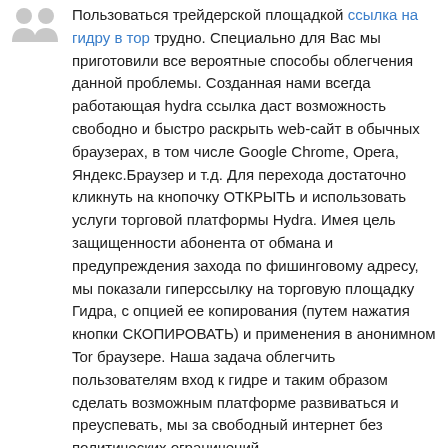[Figure (illustration): Gray avatar/user icon silhouette]
Пользоваться трейдерской площадкой ссылка на гидру в тор трудно. Специально для Вас мы приготовили все вероятные способы облегчения данной проблемы. Созданная нами всегда работающая hydra ссылка даст возможность свободно и быстро раскрыть web-сайт в обычных браузерах, в том числе Google Chrome, Opera, Яндекс.Браузер и т.д. Для перехода достаточно кликнуть на кнопочку ОТКРЫТЬ и использовать услуги торговой платформы Hydra. Имея цель защищенности абонента от обмана и предупреждения захода по фишинговому адресу, мы показали гиперссылку на торговую площадку Гидра, с опцией ее копирования (путем нажатия кнопки СКОПИРОВАТЬ) и применения в анонимном Tor браузере. Наша задача облегчить пользователям вход к гидре и таким образом сделать возможным платформе развиваться и преуспевать, мы за свободный интернет без политических ограничений.